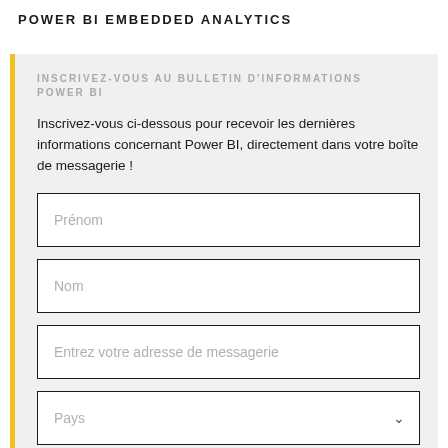POWER BI EMBEDDED ANALYTICS
INSCRIVEZ-VOUS AU BULLETIN D'INFORMATIONS POWER BI
Inscrivez-vous ci-dessous pour recevoir les dernières informations concernant Power BI, directement dans votre boîte de messagerie !
Prénom
Nom
Entrez votre adresse de messagerie
Pays